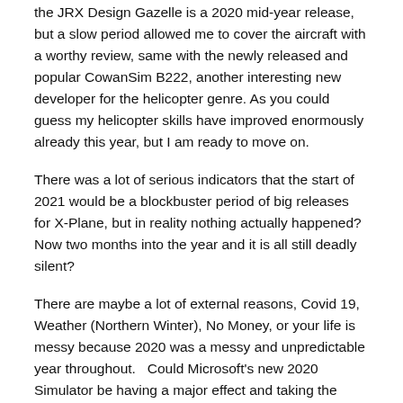the JRX Design Gazelle is a 2020 mid-year release, but a slow period allowed me to cover the aircraft with a worthy review, same with the newly released and popular CowanSim B222, another interesting new developer for the helicopter genre. As you could guess my helicopter skills have improved enormously already this year, but I am ready to move on.
There was a lot of serious indicators that the start of 2021 would be a blockbuster period of big releases for X-Plane, but in reality nothing actually happened? Now two months into the year and it is all still deadly silent?
There are maybe a lot of external reasons, Covid 19, Weather (Northern Winter), No Money, or your life is messy because 2020 was a messy and unpredictable year throughout...  Could Microsoft's new 2020 Simulator be having a major effect and taking the developers focus to the land of milk and honey and eternal riches. Not by the comments on the forums, the hard core users are still not buying the sales pitch, because the MS2020 is still feeling like a bad beta version, a few aircraft have popped up, but a fully functioning aircraft are not yet even close to being the sort of quality simulation that was advertised...  but still the